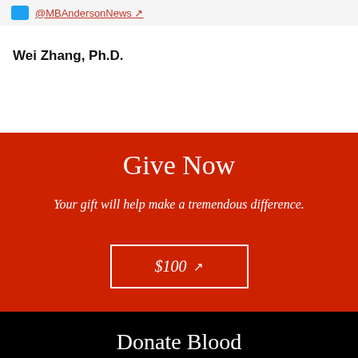@MBAndersonNews
Wei Zhang, Ph.D.
Give Now
Your gift will help make a tremendous difference.
$100
Donate Blood